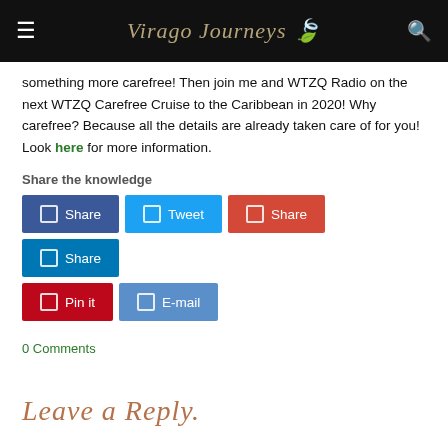Virago Journeys
something more carefree! Then join me and WTZQ Radio on the next WTZQ Carefree Cruise to the Caribbean in 2020! Why carefree? Because all the details are already taken care of for you! Look here for more information.
Share the knowledge
[Figure (infographic): Social share buttons: Share (Facebook), Tweet (Twitter), Share (Google+), Share (LinkedIn), Pin it (Pinterest), E-mail]
0 Comments
Leave a Reply.